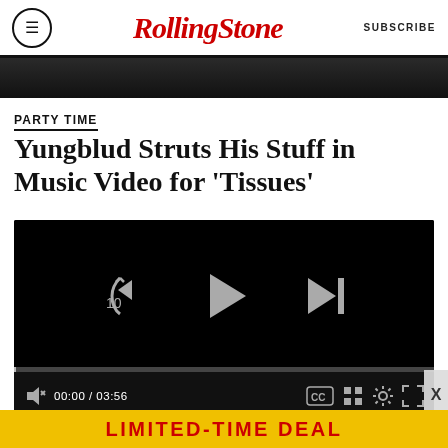RollingStone | SUBSCRIBE
[Figure (screenshot): Partial photo of a person in dark clothing, top of article image]
PARTY TIME
Yungblud Struts His Stuff in Music Video for ‘Tissues’
[Figure (screenshot): Embedded video player showing black screen with playback controls: skip-back-10s button, play button, skip-next button, progress bar at 00:00 / 03:56, mute, CC, grid, settings, and fullscreen icons]
LIMITED-TIME DEAL